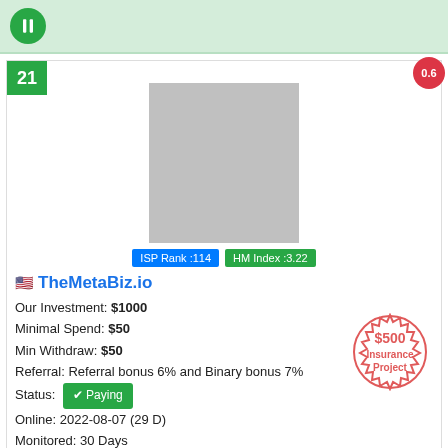[Figure (infographic): Top green bar with a circular green icon containing a pause/equal symbol]
[Figure (infographic): Investment listing card showing rank 21, score 0.6, placeholder logo image, ISP Rank 114 and HM Index 3.22 badges, site info for TheMetaBiz.io including investment details, status, online date, monitoring period, last paid info, a $500 Insurance Project stamp, a 17% progress bar, and green upward arrows at the bottom]